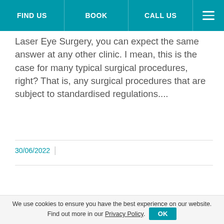FIND US | BOOK | CALL US
Laser Eye Surgery, you can expect the same answer at any other clinic. I mean, this is the case for many typical surgical procedures, right? That is, any surgical procedures that are subject to standardised regulations....
30/06/2022
READ MORE
Should I wait for a better procedure to be
We use cookies to ensure you have the best experience on our website. Find out more in our Privacy Policy. OK